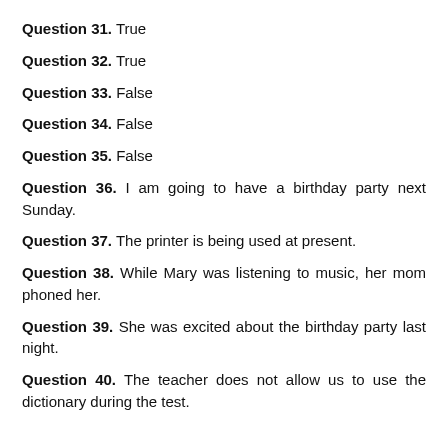Question 31. True
Question 32. True
Question 33. False
Question 34. False
Question 35. False
Question 36. I am going to have a birthday party next Sunday.
Question 37. The printer is being used at present.
Question 38. While Mary was listening to music, her mom phoned her.
Question 39. She was excited about the birthday party last night.
Question 40. The teacher does not allow us to use the dictionary during the test.